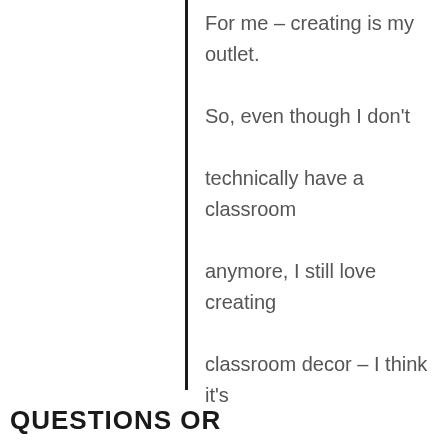For me – creating is my outlet. So, even though I don't technically have a classroom anymore, I still love creating classroom decor – I think it's my favorite thing to do.
CHECK OUT SOME OF MY NEWER SETS HERE...
QUESTIONS OR